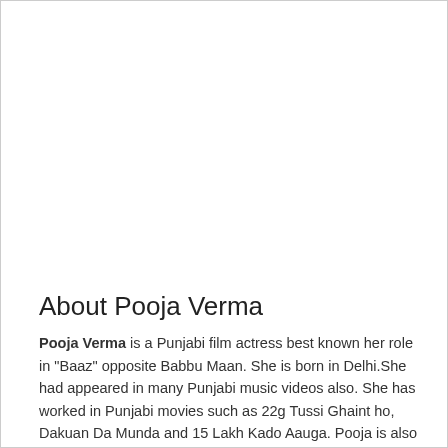About Pooja Verma
Pooja Verma is a Punjabi film actress best known her role in "Baaz" opposite Babbu Maan. She is born in Delhi.She had appeared in many Punjabi music videos also. She has worked in Punjabi movies such as 22g Tussi Ghaint ho, Dakuan Da Munda and 15 Lakh Kado Aauga. Pooja is also known for appearing in Punjabi music video songs Raatan and Kangna.